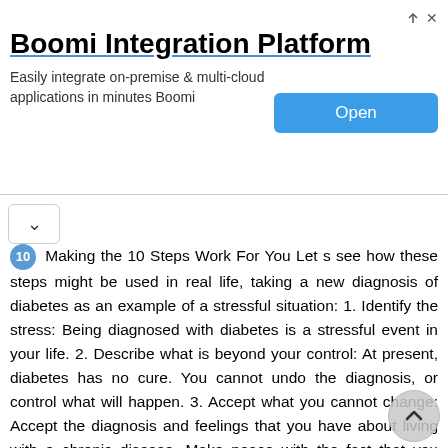[Figure (other): Advertisement banner for Boomi Integration Platform with 'Open' button]
10 Making the 10 Steps Work For You Let s see how these steps might be used in real life, taking a new diagnosis of diabetes as an example of a stressful situation: 1. Identify the stress: Being diagnosed with diabetes is a stressful event in your life. 2. Describe what is beyond your control: At present, diabetes has no cure. You cannot undo the diagnosis, or control what will happen. 3. Accept what you cannot change: Accept the diagnosis and feelings that you have about living with a chronic disease. Make peace with the fact that you have a chronic illness, an illness that you may be able to manage, but will have forever. You may benefit from seeing a social worker, counselor or attending a diabetes support group to help you accept your diabetes and learn to live a healthy life. 4. Recognize what you can control: Following a healthy meal plan, exercising, taking your diabetes pills as your doctor ordered, and taking charge of how you will live with